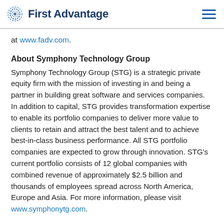First Advantage
at www.fadv.com.
About Symphony Technology Group
Symphony Technology Group (STG) is a strategic private equity firm with the mission of investing in and being a partner in building great software and services companies. In addition to capital, STG provides transformation expertise to enable its portfolio companies to deliver more value to clients to retain and attract the best talent and to achieve best-in-class business performance. All STG portfolio companies are expected to grow through innovation. STG's current portfolio consists of 12 global companies with combined revenue of approximately $2.5 billion and thousands of employees spread across North America, Europe and Asia. For more information, please visit www.symphonytg.com.